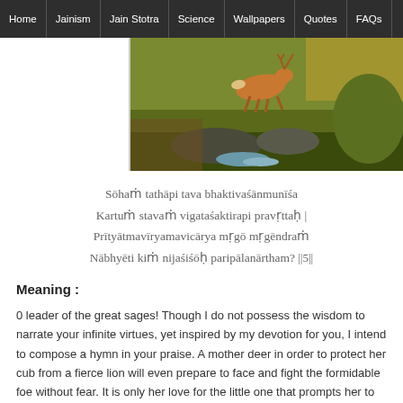Home | Jainism | Jain Stotra | Science | Wallpapers | Quotes | FAQs
[Figure (photo): A painting of a deer running in a natural landscape with green and brown tones, a stream visible at lower right.]
Sōhaṁ tathāpi tava bhaktivaśānmunīśa Kartuṁ stavaṁ vigataśaktirapi pravṛttaḥ | Prītyātmavīryamavicārya mṛgō mṛgēndraṁ Nābhyēti kiṁ nijaśiśōḥ paripālanārtham? ||5||
Meaning :
0 leader of the great sages! Though I do not possess the wisdom to narrate your infinite virtues, yet inspired by my devotion for you, I intend to compose a hymn in your praise. A mother deer in order to protect her cub from a fierce lion will even prepare to face and fight the formidable foe without fear. It is only her love for the little one that prompts her to fight a losing battle. Likewise, all my shortcomings in composing will be ignored because of my...